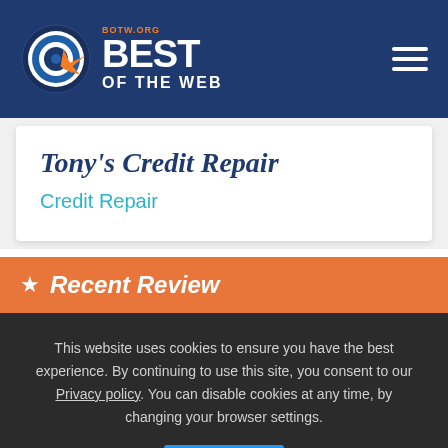[Figure (logo): Best of the Web (BOTW.ORG) logo with circular target icon and text 'BEST OF THE WEB']
Tony's Credit Repair
Credit Repair
Recent Review
This website uses cookies to ensure you have the best experience. By continuing to use this site, you consent to our Privacy policy. You can disable cookies at any time, by changing your browser settings.